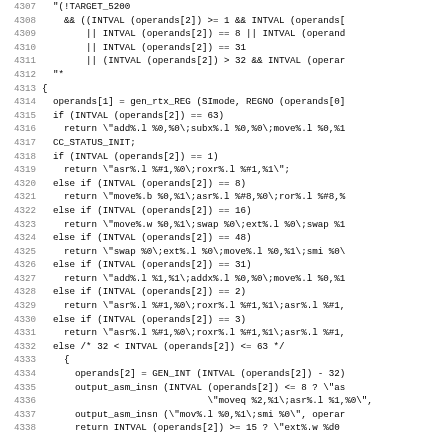Source code listing, lines 4307-4338, C/assembly code for m68k shift operations